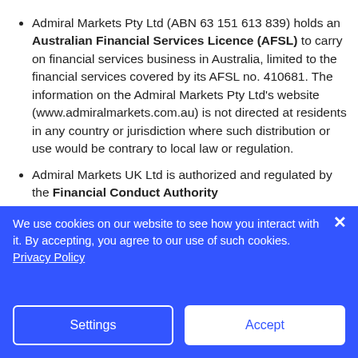Admiral Markets Pty Ltd (ABN 63 151 613 839) holds an Australian Financial Services Licence (AFSL) to carry on financial services business in Australia, limited to the financial services covered by its AFSL no. 410681. The information on the Admiral Markets Pty Ltd's website (www.admiralmarkets.com.au) is not directed at residents in any country or jurisdiction where such distribution or use would be contrary to local law or regulation.
Admiral Markets UK Ltd is authorized and regulated by the Financial Conduct Authority
We use cookies on our website to see how you interact with it. By accepting, you agree to our use of such cookies. Privacy Policy